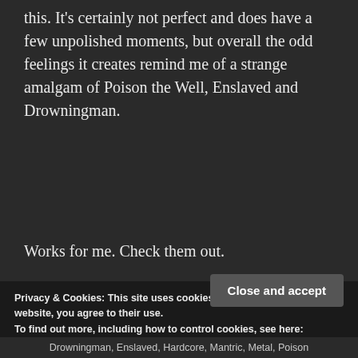this. It's certainly not perfect and does have a few unpolished moments, but overall the odd feelings it creates remind me of a strange amalgam of Poison the Well, Enslaved and Drowningman.
Works for me. Check them out.
[Figure (screenshot): SoundCloud embedded player widget with orange 'Play on SoundCloud' button on grey background]
Privacy & Cookies: This site uses cookies. By continuing to use this website, you agree to their use.
To find out more, including how to control cookies, see here:
Cookie Policy
Close and accept
Drowningman, Enslaved, Hardcore, Mantric, Metal, Poison